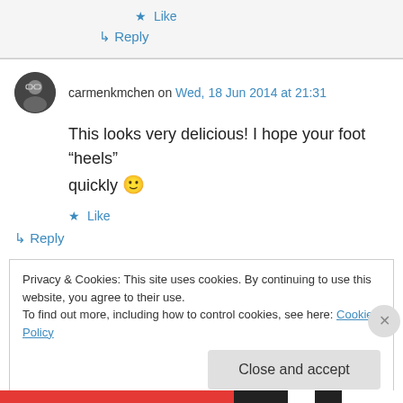★ Like
↳ Reply
carmenkmchen on Wed, 18 Jun 2014 at 21:31
This looks very delicious! I hope your foot "heels" quickly 🙂
★ Like
↳ Reply
Privacy & Cookies: This site uses cookies. By continuing to use this website, you agree to their use.
To find out more, including how to control cookies, see here: Cookie Policy
Close and accept